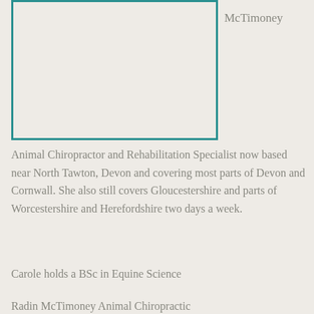[Figure (photo): A rectangular placeholder box with teal/dark cyan border, likely containing a photo of a person or animal related to animal chiropractic.]
McTimoney
Animal Chiropractor and Rehabilitation Specialist now based near North Tawton, Devon and covering most parts of Devon and Cornwall. She also still covers Gloucestershire and parts of Worcestershire and Herefordshire two days a week.
Carole holds a BSc in Equine Science
Radin McTimoney Animal Chiropractic